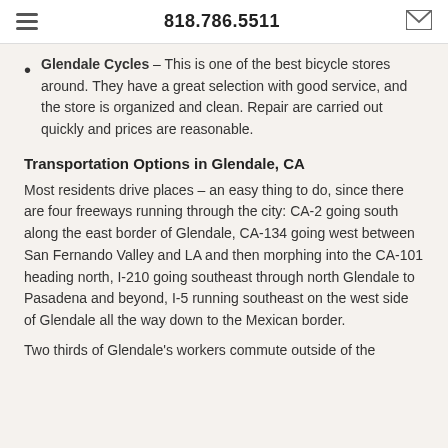818.786.5511
Glendale Cycles – This is one of the best bicycle stores around. They have a great selection with good service, and the store is organized and clean. Repair are carried out quickly and prices are reasonable.
Transportation Options in Glendale, CA
Most residents drive places – an easy thing to do, since there are four freeways running through the city: CA-2 going south along the east border of Glendale, CA-134 going west between San Fernando Valley and LA and then morphing into the CA-101 heading north, I-210 going southeast through north Glendale to Pasadena and beyond, I-5 running southeast on the west side of Glendale all the way down to the Mexican border.
Two thirds of Glendale's workers commute outside of the